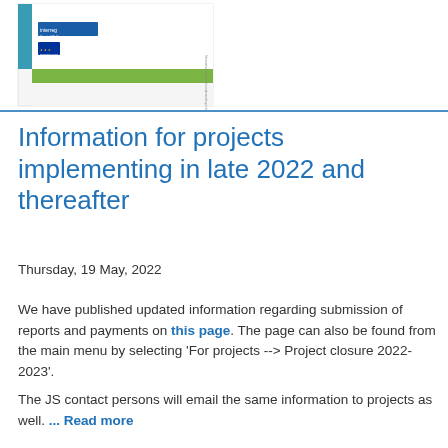[Figure (illustration): Document cover page thumbnail showing Interreg Central Baltic logo and EU flag logo with teal and green design elements]
Information for projects implementing in late 2022 and thereafter
Thursday, 19 May, 2022
We have published updated information regarding submission of reports and payments on this page. The page can also be found from the main menu by selecting 'For projects --> Project closure 2022-2023'.
The JS contact persons will email the same information to projects as well. ... Read more